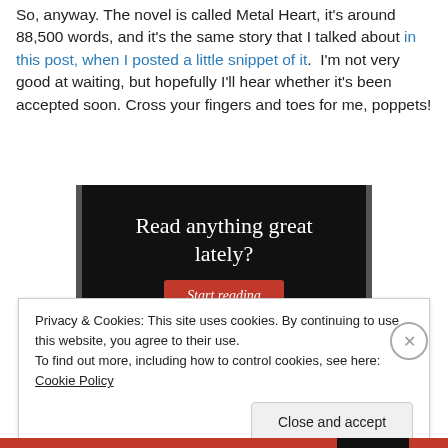So, anyway. The novel is called Metal Heart, it's around 88,500 words, and it's the same story that I talked about in this post, when I posted a little snippet of it.  I'm not very good at waiting, but hopefully I'll hear whether it's been accepted soon. Cross your fingers and toes for me, poppets!
[Figure (other): Advertisement banner with black background reading 'Read anything great lately?' with a red 'Start reading' button]
Privacy & Cookies: This site uses cookies. By continuing to use this website, you agree to their use.
To find out more, including how to control cookies, see here: Cookie Policy